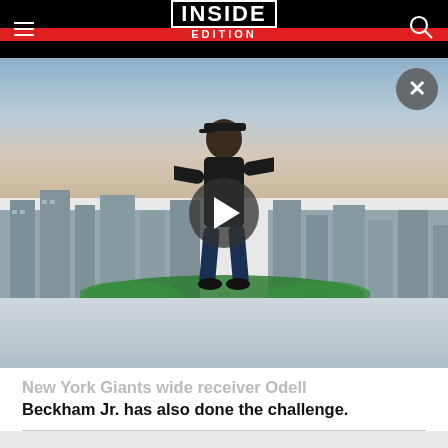INSIDE EDITION
[Figure (screenshot): Video thumbnail showing a man in a black t-shirt and cap standing on a rooftop with arms outstretched, European city buildings and trees in background, cloudy sky. A large play button is centered on the image. A close (X) button is in the top-right corner.]
New York Giants wide receiver Odell Beckham Jr. has also done the challenge.